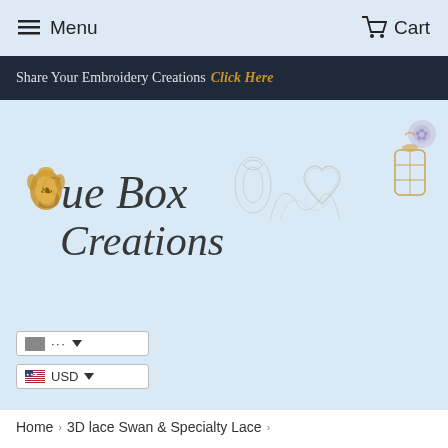Menu   Cart
Share Your Embroidery Creations Click Here
[Figure (logo): Sue Box Creations logo with golden ornamental design and decorative lace embroidery elements on light blue background]
... USD
Home > 3D lace Swan & Specialty Lace >
Lace - Large Lace Doily FSL Embroid...
[Figure (photo): Two product thumbnail images - left shows purple/mauve fabric with white embroidery, right shows white lace doily embroidery design]